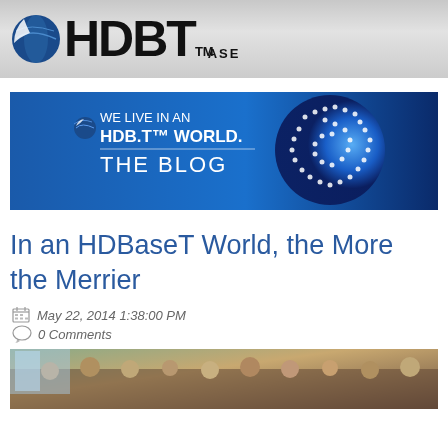HDBaseT Alliance logo header
[Figure (illustration): HDBaseT World blog banner: blue gradient background with globe made of dots, text reads WE LIVE IN AN HDBT WORLD. THE BLOG]
In an HDBaseT World, the More the Merrier
May 22, 2014 1:38:00 PM
0 Comments
[Figure (photo): Group photo of people sitting at a restaurant or event table]